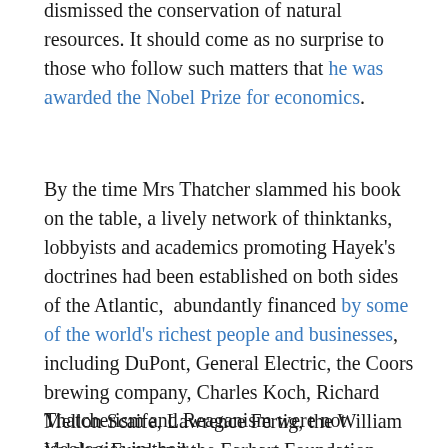dismissed the conservation of natural resources. It should come as no surprise to those who follow such matters that he was awarded the Nobel Prize for economics.
By the time Mrs Thatcher slammed his book on the table, a lively network of thinktanks, lobbyists and academics promoting Hayek's doctrines had been established on both sides of the Atlantic, abundantly financed by some of the world's richest people and businesses, including DuPont, General Electric, the Coors brewing company, Charles Koch, Richard Mellon Scaife, Lawrence Fertig, the William Volcker Fund and the Earhart Foundation. Using psychology and linguistics to brilliant effect, the thinkers these people sponsored found the words and arguments required to turn Hayek's anthem to the elite into a plausible political programme.
Thatcherism and Reaganism were not ideologies in their own right, but were expressions of neoliberalism. Their